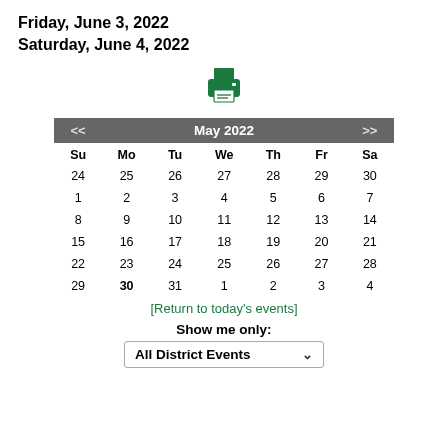Friday, June 3, 2022
Saturday, June 4, 2022
[Figure (other): Green printer icon]
| Su | Mo | Tu | We | Th | Fr | Sa |
| --- | --- | --- | --- | --- | --- | --- |
| 24 | 25 | 26 | 27 | 28 | 29 | 30 |
| 1 | 2 | 3 | 4 | 5 | 6 | 7 |
| 8 | 9 | 10 | 11 | 12 | 13 | 14 |
| 15 | 16 | 17 | 18 | 19 | 20 | 21 |
| 22 | 23 | 24 | 25 | 26 | 27 | 28 |
| 29 | 30 | 31 | 1 | 2 | 3 | 4 |
[Return to today's events]
Show me only:
All District Events